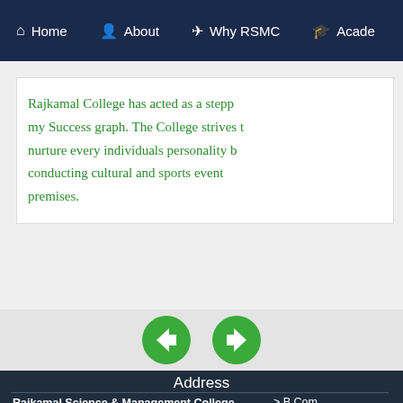Home  About  Why RSMC  Acade...
Rajkamal College has acted as a stepping stone in my Success graph. The College strives to nurture every individuals personality by conducting cultural and sports events on its premises.
[Figure (other): Navigation arrows: left (back) and right (forward) green circular buttons]
Address
Rajkamal Science & Management College NH-58
Roorkee Road Bahadrabad, Haridwar (Uttarakhand)
> B.Com
> B.Com...